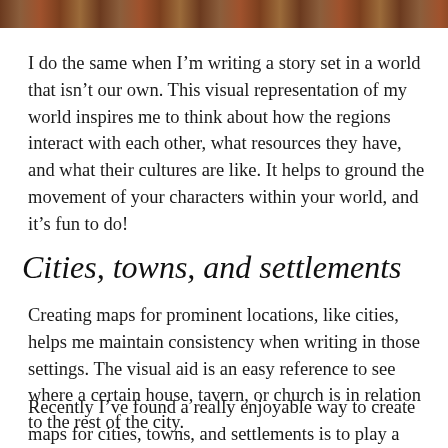[Figure (photo): Partial view of a wooden surface texture, cropped strip at the top of the page]
I do the same when I’m writing a story set in a world that isn’t our own. This visual representation of my world inspires me to think about how the regions interact with each other, what resources they have, and what their cultures are like. It helps to ground the movement of your characters within your world, and it’s fun to do!
Cities, towns, and settlements
Creating maps for prominent locations, like cities, helps me maintain consistency when writing in those settings. The visual aid is an easy reference to see where a certain house, tavern, or church is in relation to the rest of the city.
Recently I’ve found a really enjoyable way to create maps for cities, towns, and settlements is to play a game called The